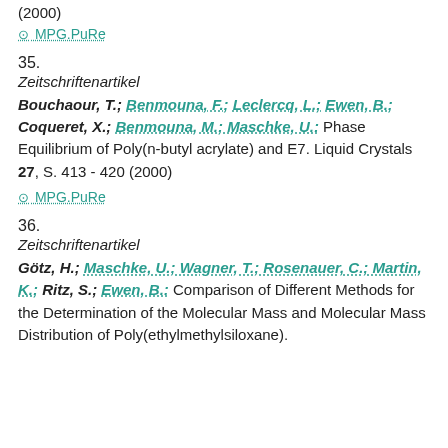(2000)
⊙ MPG.PuRe
35.
Zeitschriftenartikel
Bouchaour, T.; Benmouna, F.; Leclercq, L.; Ewen, B.; Coqueret, X.; Benmouna, M.; Maschke, U.: Phase Equilibrium of Poly(n-butyl acrylate) and E7. Liquid Crystals 27, S. 413 - 420 (2000)
⊙ MPG.PuRe
36.
Zeitschriftenartikel
Götz, H.; Maschke, U.; Wagner, T.; Rosenauer, C.; Martin, K.; Ritz, S.; Ewen, B.: Comparison of Different Methods for the Determination of the Molecular Mass and Molecular Mass Distribution of Poly(ethylmethylsiloxane).